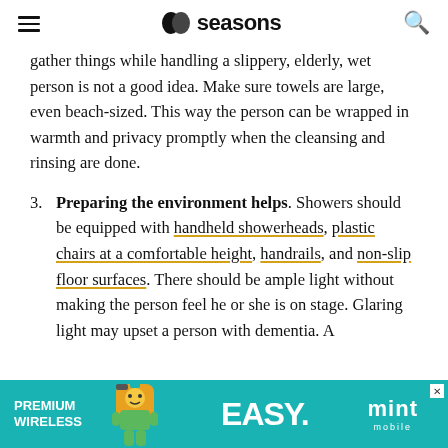seasons
gather things while handling a slippery, elderly, wet person is not a good idea. Make sure towels are large, even beach-sized. This way the person can be wrapped in warmth and privacy promptly when the cleansing and rinsing are done.
3. Preparing the environment helps. Showers should be equipped with handheld showerheads, plastic chairs at a comfortable height, handrails, and non-slip floor surfaces. There should be ample light without making the person feel he or she is on stage. Glaring light may upset a person with dementia. A
[Figure (infographic): Advertisement banner for Mint Mobile PREMIUM WIRELESS with EASY. tagline and teal background with illustrated character]